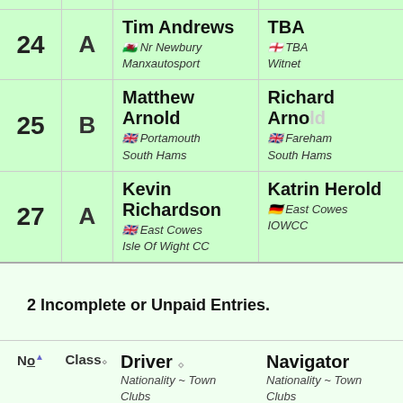| No | Class | Driver | Navigator |
| --- | --- | --- | --- |
| 24 | A | Tim Andrews
🏴󠁧󠁢󠁷󠁬󠁳󠁿 Nr Newbury
Manxautosport | TBA
🏴󠁧󠁢󠁥󠁮󠁧󠁿 TBA
Witnet |
| 25 | B | Matthew Arnold
🇬🇧 Portamouth
South Hams | Richard Arnold
🇬🇧 Fareham
South Hams |
| 27 | A | Kevin Richardson
🇬🇧 East Cowes
Isle Of Wight CC | Katrin Herold
🇩🇪 East Cowes
IOWCC |
2 Incomplete or Unpaid Entries.
| No | Class | Driver
Nationality ~ Town
Clubs | Navigator
Nationality ~ Town
Clubs |
| --- | --- | --- | --- |